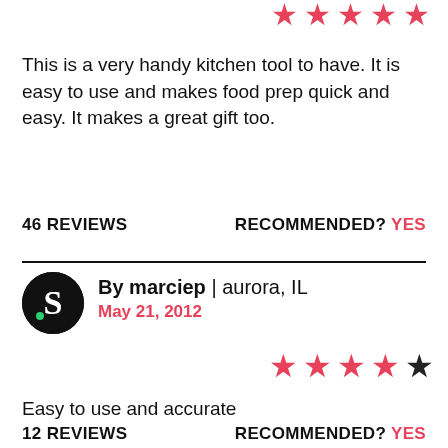[Figure (other): 5 red star rating icons at top right, partially cropped]
This is a very handy kitchen tool to have. It is easy to use and makes food prep quick and easy. It makes a great gift too.
46 REVIEWS    RECOMMENDED? YES
[Figure (other): Reviewer avatar: black circle with white S letter and green dot. By marciep | aurora, IL. May 21, 2012]
[Figure (other): 4 filled red stars and 1 dark/black star rating]
Easy to use and accurate
12 REVIEWS    RECOMMENDED? YES